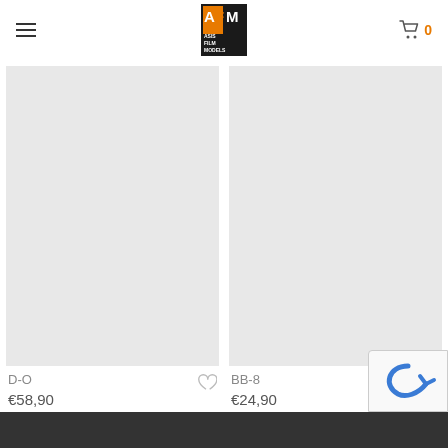[Figure (logo): AFM Asis Film Models logo - black square with orange and white A, F, M letters]
[Figure (photo): Product image placeholder (light gray) for D-O]
D-O
€58,90
[Figure (photo): Product image placeholder (light gray) for BB-8]
BB-8
€24,90